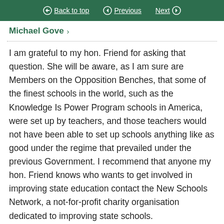Back to top  Previous  Next
Michael Gove >
I am grateful to my hon. Friend for asking that question. She will be aware, as I am sure are Members on the Opposition Benches, that some of the finest schools in the world, such as the Knowledge Is Power Program schools in America, were set up by teachers, and those teachers would not have been able to set up schools anything like as good under the regime that prevailed under the previous Government. I recommend that anyone my hon. Friend knows who wants to get involved in improving state education contact the New Schools Network, a not-for-profit charity organisation dedicated to improving state schools.